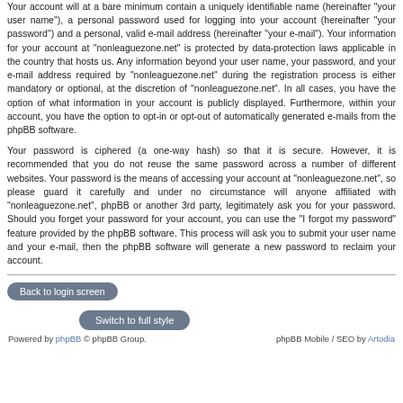Your account will at a bare minimum contain a uniquely identifiable name (hereinafter "your user name"), a personal password used for logging into your account (hereinafter "your password") and a personal, valid e-mail address (hereinafter "your e-mail"). Your information for your account at "nonleaguezone.net" is protected by data-protection laws applicable in the country that hosts us. Any information beyond your user name, your password, and your e-mail address required by "nonleaguezone.net" during the registration process is either mandatory or optional, at the discretion of "nonleaguezone.net". In all cases, you have the option of what information in your account is publicly displayed. Furthermore, within your account, you have the option to opt-in or opt-out of automatically generated e-mails from the phpBB software.
Your password is ciphered (a one-way hash) so that it is secure. However, it is recommended that you do not reuse the same password across a number of different websites. Your password is the means of accessing your account at "nonleaguezone.net", so please guard it carefully and under no circumstance will anyone affiliated with "nonleaguezone.net", phpBB or another 3rd party, legitimately ask you for your password. Should you forget your password for your account, you can use the "I forgot my password" feature provided by the phpBB software. This process will ask you to submit your user name and your e-mail, then the phpBB software will generate a new password to reclaim your account.
Back to login screen
Switch to full style
Powered by phpBB © phpBB Group.   phpBB Mobile / SEO by Artodia